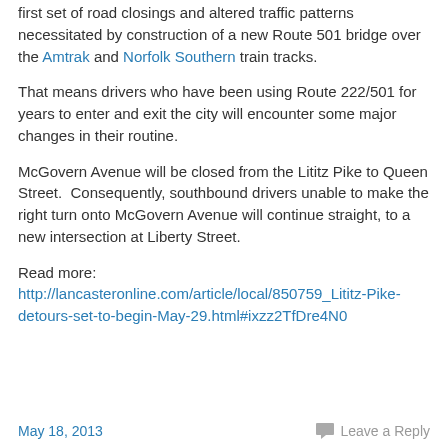first set of road closings and altered traffic patterns necessitated by construction of a new Route 501 bridge over the Amtrak and Norfolk Southern train tracks.
That means drivers who have been using Route 222/501 for years to enter and exit the city will encounter some major changes in their routine.
McGovern Avenue will be closed from the Lititz Pike to Queen Street.  Consequently, southbound drivers unable to make the right turn onto McGovern Avenue will continue straight, to a new intersection at Liberty Street.
Read more: http://lancasteronline.com/article/local/850759_Lititz-Pike-detours-set-to-begin-May-29.html#ixzz2TfDre4N0
May 18, 2013   Leave a Reply